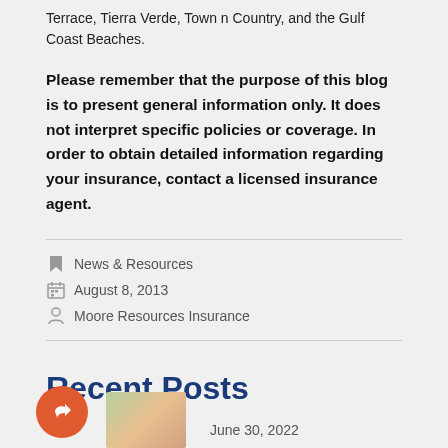Terrace, Tierra Verde, Town n Country, and the Gulf Coast Beaches.
Please remember that the purpose of this blog is to present general information only. It does not interpret specific policies or coverage. In order to obtain detailed information regarding your insurance, contact a licensed insurance agent.
News & Resources
August 8, 2013
Moore Resources Insurance
Recent Posts
June 30, 2022